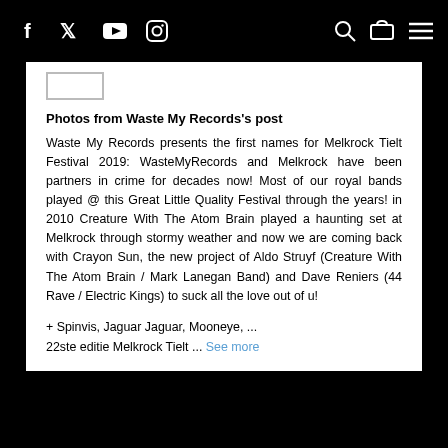Social media icons: Facebook, Twitter, YouTube, Instagram, Search, Cart, Menu
[Figure (screenshot): Facebook post thumbnail/avatar placeholder box]
Photos from Waste My Records's post
Waste My Records presents the first names for Melkrock Tielt Festival 2019: WasteMyRecords and Melkrock have been partners in crime for decades now! Most of our royal bands played @ this Great Little Quality Festival through the years! in 2010 Creature With The Atom Brain played a haunting set at Melkrock through stormy weather and now we are coming back with Crayon Sun, the new project of Aldo Struyf (Creature With The Atom Brain / Mark Lanegan Band) and Dave Reniers (44 Rave / Electric Kings) to suck all the love out of u!
+ Spinvis, Jaguar Jaguar, Mooneye, ...
22ste editie Melkrock Tielt ... See more